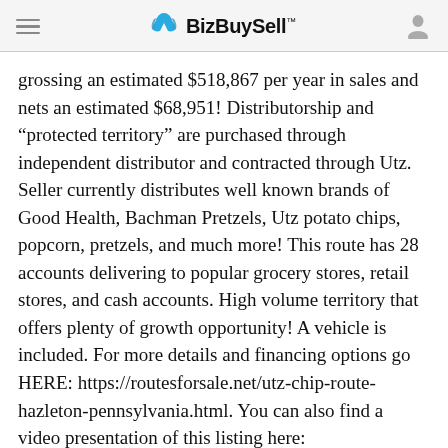BizBuySell
grossing an estimated $518,867 per year in sales and nets an estimated $68,951! Distributorship and “protected territory” are purchased through independent distributor and contracted through Utz. Seller currently distributes well known brands of Good Health, Bachman Pretzels, Utz potato chips, popcorn, pretzels, and much more! This route has 28 accounts delivering to popular grocery stores, retail stores, and cash accounts. High volume territory that offers plenty of growth opportunity! A vehicle is included. For more details and financing options go HERE: https://routesforsale.net/utz-chip-route-hazleton-pennsylvania.html. You can also find a video presentation of this listing here: https://youtu.be/P2d9gtnD1b8